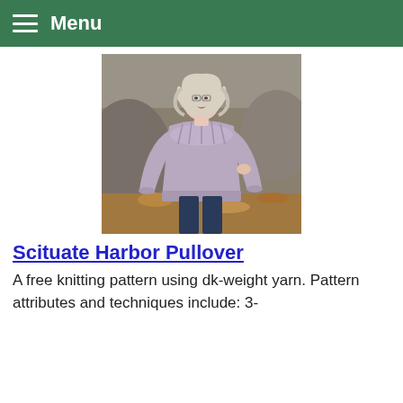Menu
[Figure (photo): Woman with blonde hair wearing a lavender/mauve knitted pullover sweater with lace yoke detail, standing outdoors among rocks and autumn leaves]
Scituate Harbor Pullover
A free knitting pattern using dk-weight yarn. Pattern attributes and techniques include: 3-